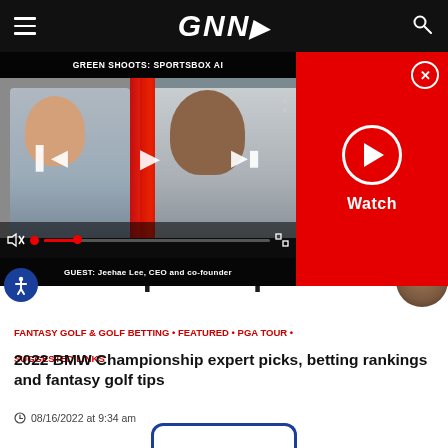GNNr (logo) — navigation bar
[Figure (screenshot): Video player showing 'GREEN SHOOTS: SPORTSBOX AI' with two people in video call, playback controls, GUEST: Jeehae Lee, CEO and co-founder]
[Figure (screenshot): Red Watch panel with play button circle and Watch text, close X button]
Championship
FANTASY GOLF & GOLF BETTING • FEATURED • PGA TOUR • SUGGESTED LINKS
2022 BMW Championship expert picks, betting rankings and fantasy golf tips
08/16/2022 at 9:34 am